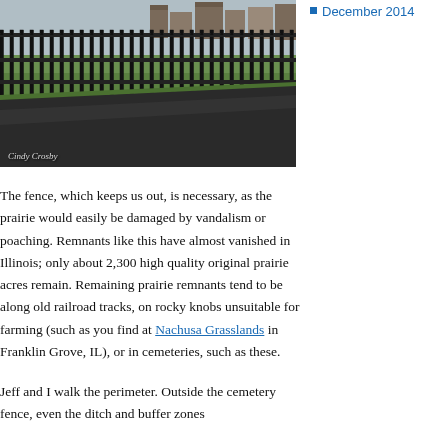[Figure (photo): A paved path running alongside a tall black iron fence, with green grass and suburban buildings visible in the background. Photo credit: Cindy Crosby.]
The fence, which keeps us out, is necessary, as the prairie would easily be damaged by vandalism or poaching. Remnants like this have almost vanished in Illinois; only about 2,300 high quality original prairie acres remain. Remaining prairie remnants tend to be along old railroad tracks, on rocky knobs unsuitable for farming (such as you find at Nachusa Grasslands in Franklin Grove, IL), or in cemeteries, such as these.
Jeff and I walk the perimeter. Outside the cemetery fence, even the ditch and buffer zones
December 2014